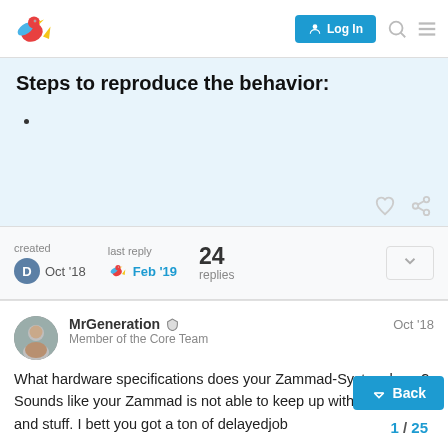[Figure (screenshot): Forum navigation bar with bird logo, blue Log In button, search icon, and hamburger menu icon]
Steps to reproduce the behavior:
created Oct '18   last reply Feb '19   24 replies
MrGeneration  Member of the Core Team  Oct '18
What hardware specifications does your Zammad-System have?
Sounds like your Zammad is not able to keep up with index jobs and stuff. I bett you got a ton of delayedjob